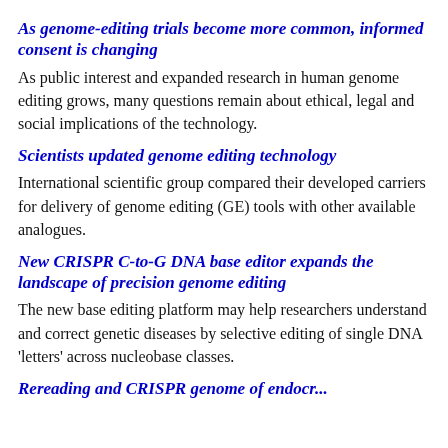As genome-editing trials become more common, informed consent is changing
As public interest and expanded research in human genome editing grows, many questions remain about ethical, legal and social implications of the technology.
Scientists updated genome editing technology
International scientific group compared their developed carriers for delivery of genome editing (GE) tools with other available analogues.
New CRISPR C-to-G DNA base editor expands the landscape of precision genome editing
The new base editing platform may help researchers understand and correct genetic diseases by selective editing of single DNA 'letters' across nucleobase classes.
Rereading and CRISPR genome of endocrine...